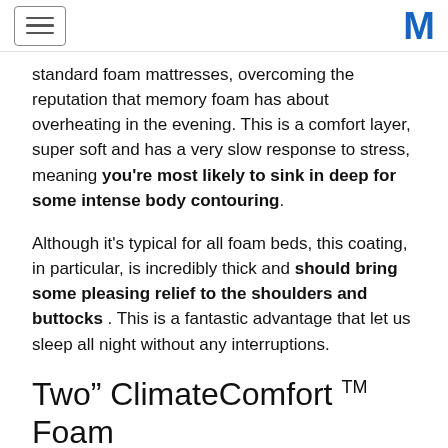[hamburger menu] [M logo]
standard foam mattresses, overcoming the reputation that memory foam has about overheating in the evening. This is a comfort layer, super soft and has a very slow response to stress, meaning you're most likely to sink in deep for some intense body contouring.
Although it's typical for all foam beds, this coating, in particular, is incredibly thick and should bring some pleasing relief to the shoulders and buttocks . This is a fantastic advantage that let us sleep all night without any interruptions.
Two" ClimateComfort TM Foam
This is a new layer that Puffy has added to their